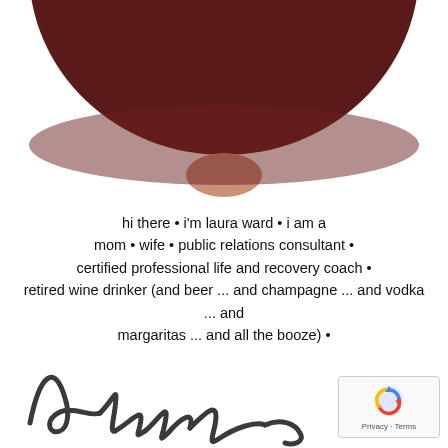[Figure (photo): Partial view of a person's head wearing a dark maroon/brown wide-brim hat, shown from chin up, cropped at top. Warm skin tone visible at lower edge of hat.]
hi there • i'm laura ward • i am a mom • wife • public relations consultant • certified professional life and recovery coach • retired wine drinker (and beer ... and champagne ... and vodka ... and margaritas ... and all the booze) • spinal fusion survivor • writer

• thank you so much for stopping by •
[Figure (illustration): A handwritten cursive signature reading 'laura' in dark charcoal/gray ink, displayed large at the bottom left of the page.]
[Figure (other): reCAPTCHA badge with spinning arrows icon and 'Privacy - Terms' text, positioned at bottom right corner.]